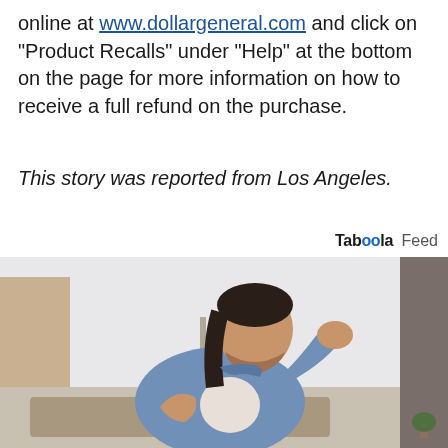online at www.dollargeneral.com and click on "Product Recalls" under "Help" at the bottom on the page for more information on how to receive a full refund on the purchase.
This story was reported from Los Angeles.
Taboola Feed
[Figure (photo): A man in a denim shirt coughing into his fist while holding his chest, seated indoors.]